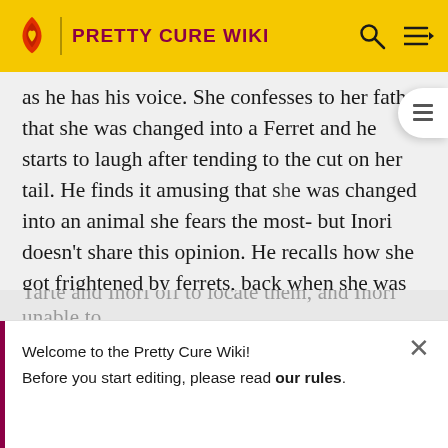PRETTY CURE WIKI
as he has his voice. She confesses to her father that she was changed into a Ferret and he starts to laugh after tending to the cut on her tail. He finds it amusing that she was changed into an animal she fears the most- but Inori doesn't share this opinion. He recalls how she got frightened by ferrets, back when she was little and one bit her. He explains to her that animals sense pain differently than animals do.
Meanwhile, Cure Peach and Cure Berry struggle to fight the Nakewamake.
Tarte and Inori off to locate them, and Inori unable to...
Welcome to the Pretty Cure Wiki!
Before you start editing, please read our rules.